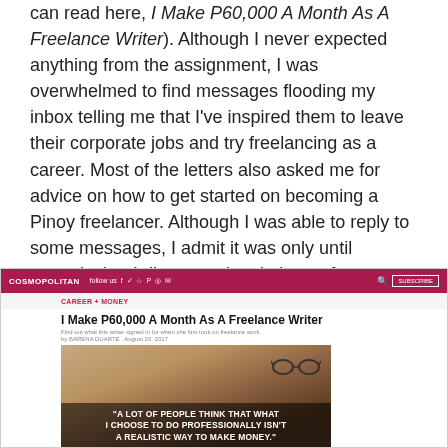can read here, I Make P60,000 A Month As A Freelance Writer). Although I never expected anything from the assignment, I was overwhelmed to find messages flooding my inbox telling me that I've inspired them to leave their corporate jobs and try freelancing as a career. Most of the letters also asked me for advice on how to get started on becoming a Pinoy freelancer. Although I was able to reply to some messages, I admit it was only until recently that I discovered a plethora of requests waiting in vain on my Facebook Messenger.
[Figure (screenshot): Screenshot of a Cosmopolitan article titled 'I Make P60,000 A Month As A Freelance Writer' with a featured image overlay quote: 'A LOT OF PEOPLE THINK THAT WHAT I CHOOSE TO DO PROFESSIONALLY ISN'T A REALISTIC WAY TO MAKE MONEY.']